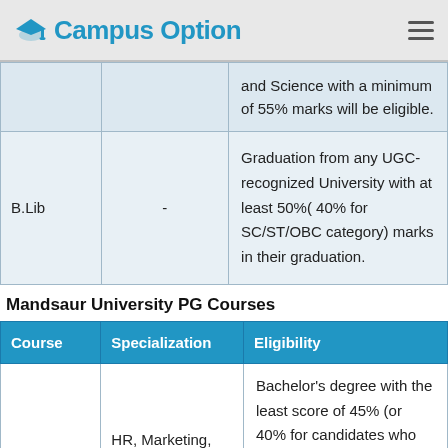Campus Option
| Course | Specialization | Eligibility |
| --- | --- | --- |
|  |  | and Science with a minimum of 55% marks will be eligible. |
| B.Lib | - | Graduation from any UGC-recognized University with at least 50%( 40% for SC/ST/OBC category) marks in their graduation. |
Mandsaur University PG Courses
| Course | Specialization | Eligibility |
| --- | --- | --- |
| MBA | HR, Marketing, Finance | Bachelor's degree with the least score of 45% (or 40% for candidates who fall |